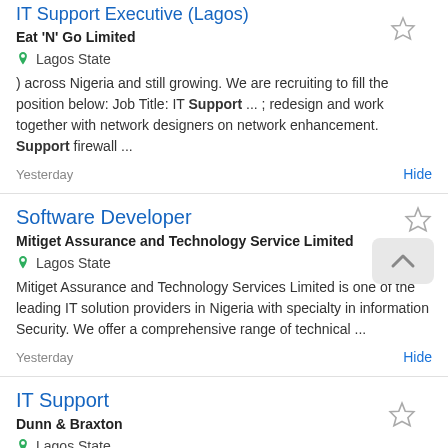IT Support Executive (Lagos)
Eat 'N' Go Limited
Lagos State
) across Nigeria and still growing. We are recruiting to fill the position below: Job Title: IT Support ... ; redesign and work together with network designers on network enhancement. Support firewall ...
Yesterday
Hide
Software Developer
Mitiget Assurance and Technology Service Limited
Lagos State
Mitiget Assurance and Technology Services Limited is one of the leading IT solution providers in Nigeria with specialty in information Security. We offer a comprehensive range of technical ...
Yesterday
Hide
IT Support
Dunn & Braxton
Lagos State
and practices as defined for system access, testing, change